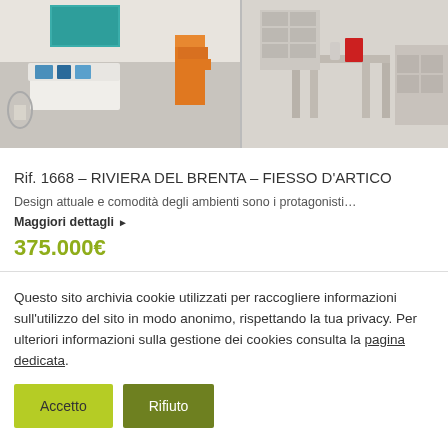[Figure (photo): Interior photo of a bright living/dining room with white furniture, teal artwork, orange stairs, and a console table with decorative items]
Rif. 1668 – RIVIERA DEL BRENTA – FIESSO D'ARTICO
Design attuale e comodità degli ambienti sono i protagonisti…
Maggiori dettagli ▶
375.000€
Questo sito archivia cookie utilizzati per raccogliere informazioni sull'utilizzo del sito in modo anonimo, rispettando la tua privacy. Per ulteriori informazioni sulla gestione dei cookies consulta la pagina dedicata.
Accetto
Rifiuto